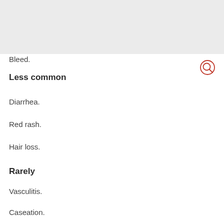Bleed.
Less common
Diarrhea.
Red rash.
Hair loss.
Rarely
Vasculitis.
Caseation.
Dosage and Administration
Usage: Can be taken orally or intravenously. When the drug